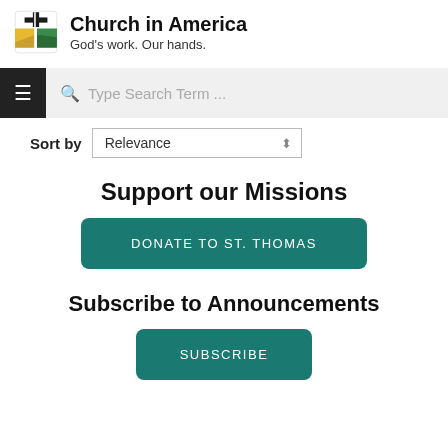[Figure (logo): Evangelical Lutheran Church in America logo with cross and colorful shield, and text 'Church in America' and 'God's work. Our hands.']
[Figure (screenshot): Search bar UI element with magnifying glass icon and placeholder text 'Type Search Term ...' on grey background, with hamburger menu button on left]
Sort by Relevance
Support our Missions
DONATE TO ST. THOMAS
Subscribe to Announcements
SUBSCRIBE